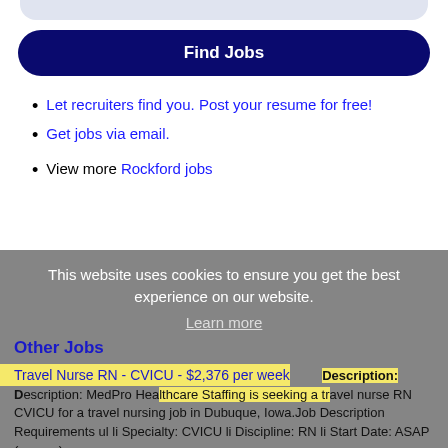Let recruiters find you. Post your resume for free!
Get jobs via email.
View more Rockford jobs
This website uses cookies to ensure you get the best experience on our website.
Learn more
Got it!
Other Jobs
Travel Nurse RN - CVICU - $2,376 per week
Description: MedPro Healthcare Staffing is seeking a travel nurse RN CVICU for a travel nursing job in Dubuque, Iowa.Job Description Requirements ul li Specialty: CVICU li Discipline: RN li Start Date: ASAP (more...)